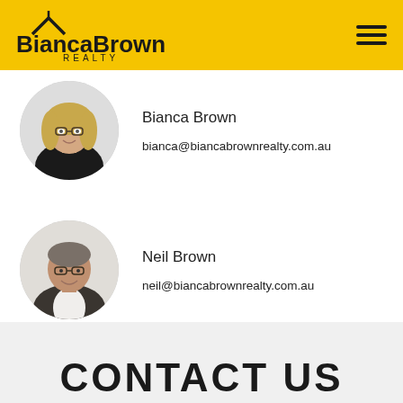BiancaBrown REALTY
[Figure (photo): Profile photo of Bianca Brown, a blonde woman with glasses wearing a black jacket]
Bianca Brown
bianca@biancabrownrealty.com.au
[Figure (photo): Profile photo of Neil Brown, a middle-aged man with glasses wearing a dark jacket]
Neil Brown
neil@biancabrownrealty.com.au
CONTACT US